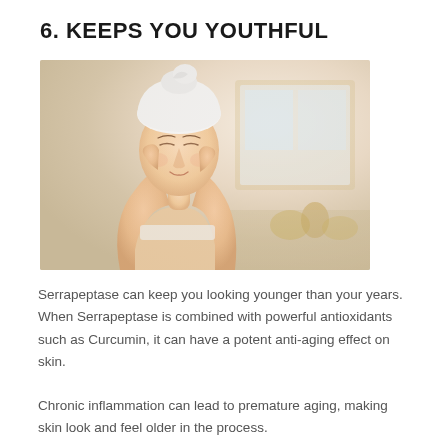6. KEEPS YOU YOUTHFUL
[Figure (photo): Woman with white towel wrapped around her head, eyes closed, hands raised to her cheeks in a beauty/skincare pose, bathroom background with mirror and golden accessories]
Serrapeptase can keep you looking younger than your years. When Serrapeptase is combined with powerful antioxidants such as Curcumin, it can have a potent anti-aging effect on skin.
Chronic inflammation can lead to premature aging, making skin look and feel older in the process.